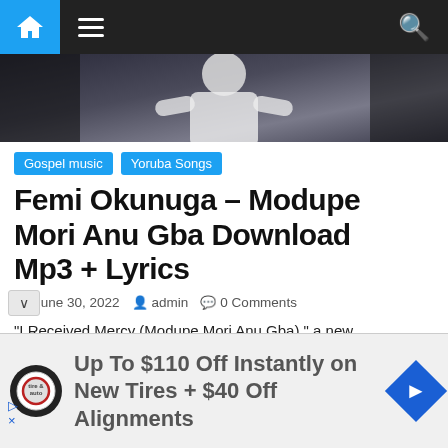Navigation bar with home, menu, and search icons
[Figure (photo): Hero banner image showing a person in white clothing, dark blue-tinted background]
Gospel music   Yoruba Songs
Femi Okunuga – Modupe Mori Anu Gba Download Mp3 + Lyrics
June 30, 2022   admin   0 Comments
“I Received Mercy (Modupe Mori Anu Gba),” a new g video by well-known Nigerian worship leader
Up To $110 Off Instantly on New Tires + $40 Off Alignments